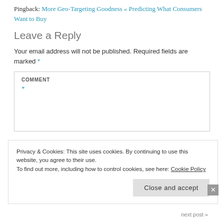Pingback: More Geo-Targeting Goodness « Predicting What Consumers Want to Buy
Leave a Reply
Your email address will not be published. Required fields are marked *
COMMENT *
Privacy & Cookies: This site uses cookies. By continuing to use this website, you agree to their use.
To find out more, including how to control cookies, see here: Cookie Policy
Close and accept